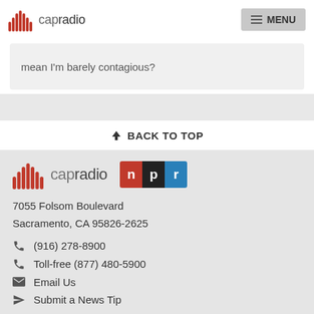capradio | MENU
mean I'm barely contagious?
↑ BACK TO TOP
[Figure (logo): CapRadio and NPR logos side by side]
7055 Folsom Boulevard
Sacramento, CA 95826-2625
(916) 278-8900
Toll-free (877) 480-5900
Email Us
Submit a News Tip